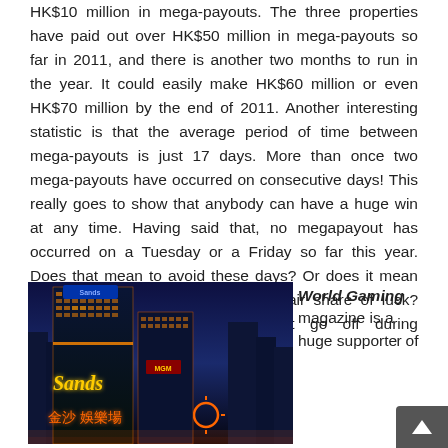HK$10 million in mega-payouts. The three properties have paid out over HK$50 million in mega-payouts so far in 2011, and there is another two months to run in the year. It could easily make HK$60 million or even HK$70 million by the end of 2011. Another interesting statistic is that the average period of time between mega-payouts is just 17 days. More than once two mega-payouts have occurred on consecutive days! This really goes to show that anybody can have a huge win at any time. Having said that, no megapayout has occurred on a Tuesday or a Friday so far this year. Does that mean to avoid these days? Or does it mean these days are now due for their fair share of luck? Who knows what jackpots might go off during November and December?
[Figure (photo): Night photo of the Sands casino building illuminated with orange and yellow neon lights, with Chinese characters visible at the bottom]
World Gaming magazine is a huge supporter of